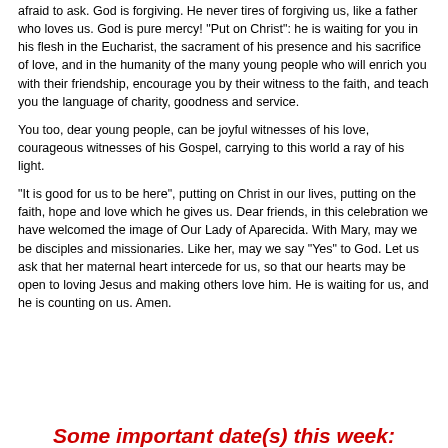afraid to ask. God is forgiving. He never tires of forgiving us, like a father who loves us. God is pure mercy! "Put on Christ": he is waiting for you in his flesh in the Eucharist, the sacrament of his presence and his sacrifice of love, and in the humanity of the many young people who will enrich you with their friendship, encourage you by their witness to the faith, and teach you the language of charity, goodness and service.
You too, dear young people, can be joyful witnesses of his love, courageous witnesses of his Gospel, carrying to this world a ray of his light.
“It is good for us to be here”, putting on Christ in our lives, putting on the faith, hope and love which he gives us. Dear friends, in this celebration we have welcomed the image of Our Lady of Aparecida. With Mary, may we be disciples and missionaries. Like her, may we say “Yes” to God. Let us ask that her maternal heart intercede for us, so that our hearts may be open to loving Jesus and making others love him. He is waiting for us, and he is counting on us. Amen.
Some important date(s) this week: